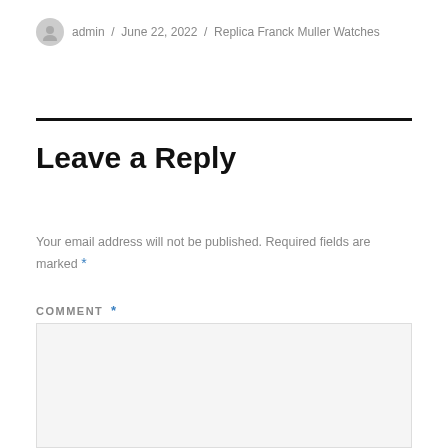admin / June 22, 2022 / Replica Franck Muller Watches
Leave a Reply
Your email address will not be published. Required fields are marked *
COMMENT *
[Figure (other): Comment text area input box]